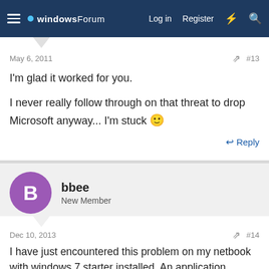windowsForum  Log in  Register
May 6, 2011   #13
I'm glad it worked for you.

I never really follow through on that threat to drop Microsoft anyway... I'm stuck 🙂
Reply
bbee
New Member
Dec 10, 2013   #14
I have just encountered this problem on my netbook with windows 7 starter installed. An application became unresponsive and it was not possible to start task manager, shutdown did not work at all so after a couple of minutes I had